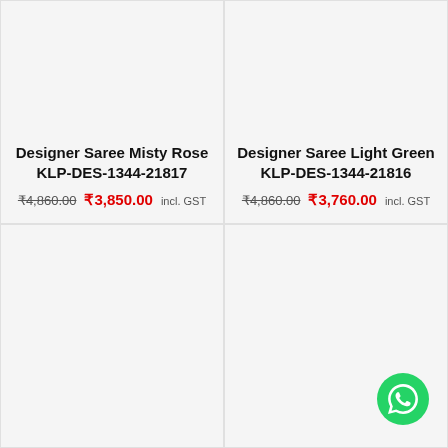Designer Saree Misty Rose KLP-DES-1344-21817 ₹4,860.00 ₹3,850.00 incl. GST
Designer Saree Light Green KLP-DES-1344-21816 ₹4,860.00 ₹3,760.00 incl. GST
[Figure (other): Product card placeholder bottom-left, no image loaded]
[Figure (other): Product card placeholder bottom-right with WhatsApp contact button]